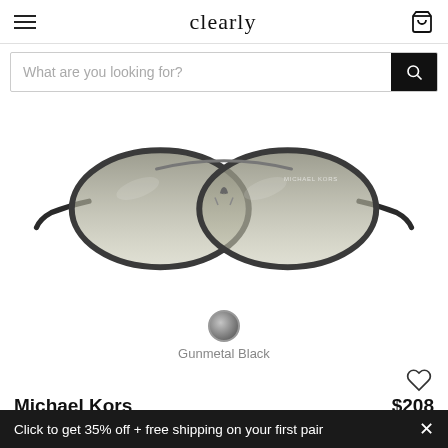clearly
What are you looking for?
[Figure (photo): Michael Kors aviator sunglasses in Gunmetal Black with gradient grey lenses, displayed on white background. Michael Kors branding visible on lens.]
Gunmetal Black
Michael Kors
$208
Click to get 35% off + free shipping on your first pair